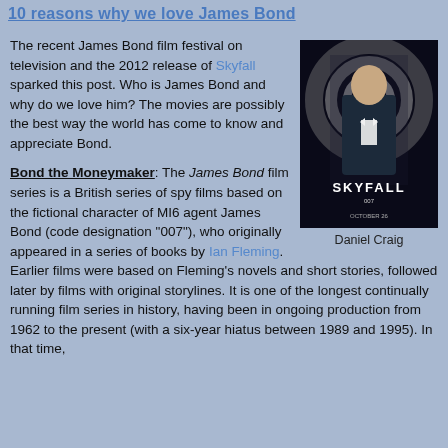10 reasons why we love James Bond
The recent James Bond film festival on television and the 2012 release of Skyfall sparked this post. Who is James Bond and why do we love him? The movies are possibly the best way the world has come to know and appreciate Bond.
[Figure (photo): Movie poster for Skyfall (2012) showing Daniel Craig in a tuxedo against a black and white spiral background with the SKYFALL logo and October 26 release date]
Daniel Craig
Bond the Moneymaker: The James Bond film series is a British series of spy films based on the fictional character of MI6 agent James Bond (code designation "007"), who originally appeared in a series of books by Ian Fleming. Earlier films were based on Fleming's novels and short stories, followed later by films with original storylines. It is one of the longest continually running film series in history, having been in ongoing production from 1962 to the present (with a six-year hiatus between 1989 and 1995). In that time, Eon Productions has produced 23 films, a range of